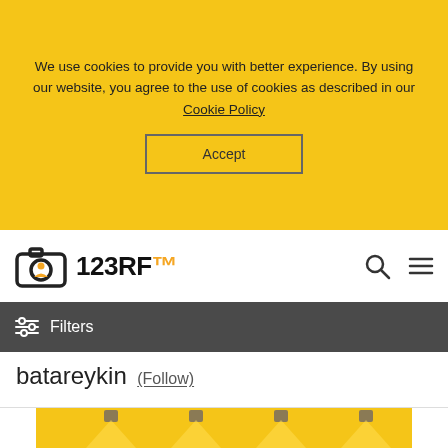We use cookies to provide you with better experience. By using our website, you agree to the use of cookies as described in our Cookie Policy
Accept
[Figure (logo): 123RF logo with camera icon]
Filters
batareykin (Follow)
[Figure (photo): Yellow background with four ceiling spotlights casting warm light beams downward]